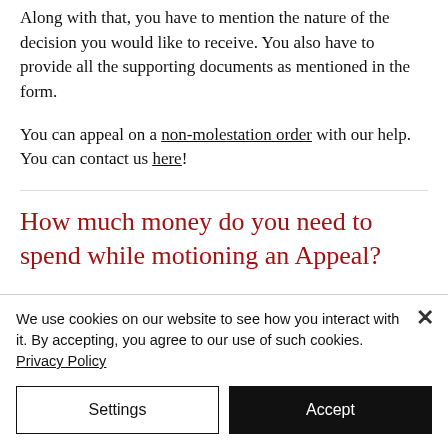Along with that, you have to mention the nature of the decision you would like to receive. You also have to provide all the supporting documents as mentioned in the form.
You can appeal on a non-molestation order with our help. You can contact us here!
How much money do you need to spend while motioning an Appeal?
We use cookies on our website to see how you interact with it. By accepting, you agree to our use of such cookies. Privacy Policy